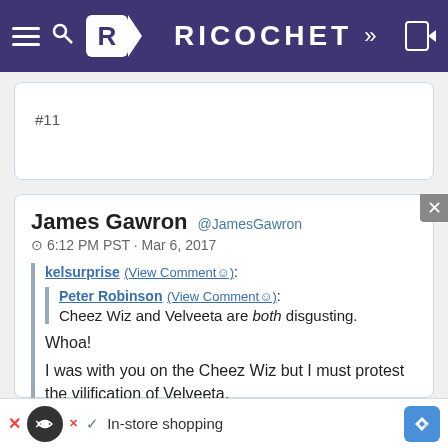RICOCHET
#11
James Gawron @JamesGawron
6:12 PM PST · Mar 6, 2017

kelsurprise (View Comment☺):

Peter Robinson (View Comment☺):
Cheez Wiz and Velveeta are both disgusting.

Whoa!

I was with you on the Cheez Wiz but I must protest the vilification of Velveeta.

One cannot make queso dip without that magic
[Figure (screenshot): Ad banner with in-store shopping text and navigation icons]